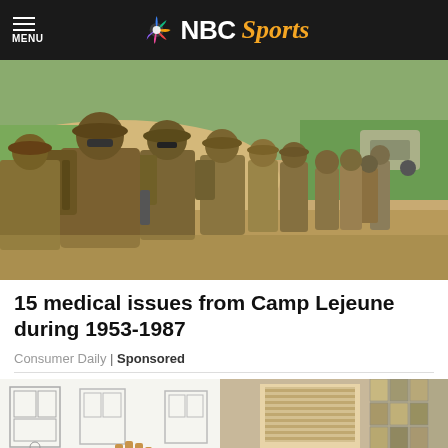NBC Sports
[Figure (photo): Group of U.S. Marines in full combat gear and desert camouflage uniforms walking through a sandy terrain. Multiple soldiers visible carrying backpacks and weapons. Sandy dunes and green vegetation visible in background.]
15 medical issues from Camp Lejeune during 1953-1987
Consumer Daily | Sponsored
[Figure (photo): Split image showing architectural/interior design sketches on the left (line drawings of windows and rooms) and a finished interior with tiled wall and window treatment on the right.]